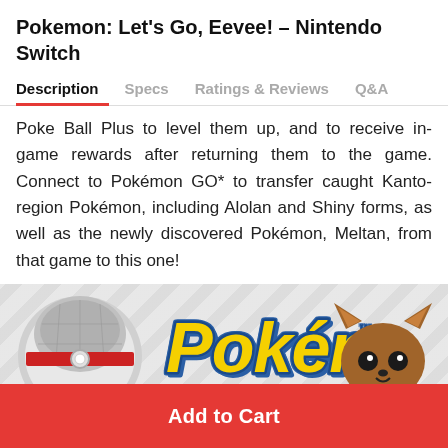Pokemon: Let's Go, Eevee! – Nintendo Switch
Description | Specs | Ratings & Reviews | Q&A
Poke Ball Plus to level them up, and to receive in-game rewards after returning them to the game. Connect to Pokémon GO* to transfer caught Kanto-region Pokémon, including Alolan and Shiny forms, as well as the newly discovered Pokémon, Meltan, from that game to this one!
[Figure (photo): Promotional banner showing a Pokémon-branded popcorn maker on the left with popcorn, the Pokémon logo in the center, and an Eevee Funko Pop figure on the right, on a diagonal stripe background.]
Add to Cart